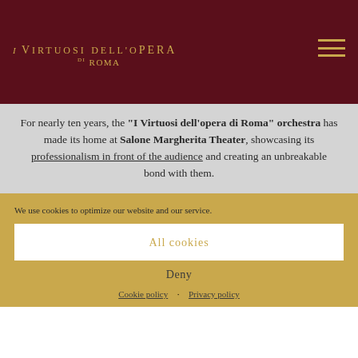I Virtuosi dell'Opera di Roma
For nearly ten years, the "I Virtuosi dell'opera di Roma" orchestra has made its home at Salone Margherita Theater, showcasing its professionalism in front of the audience and creating an unbreakable bond with them.
We use cookies to optimize our website and our service.
All cookies
Deny
Cookie policy · Privacy policy